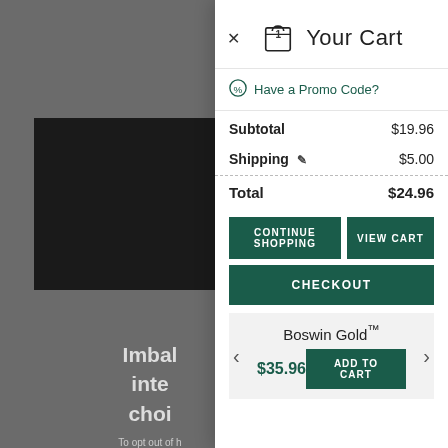Your Cart
Have a Promo Code?
| Item | Amount |
| --- | --- |
| Subtotal | $19.96 |
| Shipping | $5.00 |
| Total | $24.96 |
CONTINUE SHOPPING
VIEW CART
CHECKOUT
Boswin Gold™ $35.96 ADD TO CART
To opt out of having to do with cookies relating to cookies information more out of retargeting personal information please do